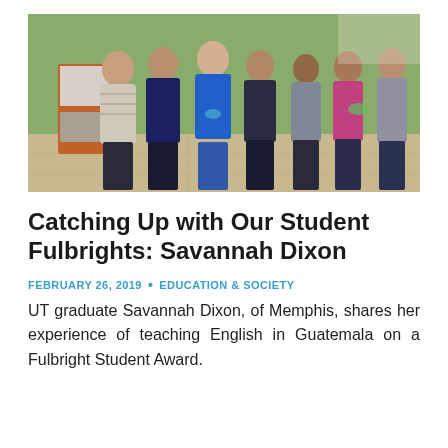[Figure (photo): Group photo of seven young women indoors, posing and smiling, some holding cups or food items. The setting appears to be a classroom or community space with a green wall.]
Catching Up with Our Student Fulbrights: Savannah Dixon
FEBRUARY 26, 2019  •  EDUCATION & SOCIETY
UT graduate Savannah Dixon, of Memphis, shares her experience of teaching English in Guatemala on a Fulbright Student Award.